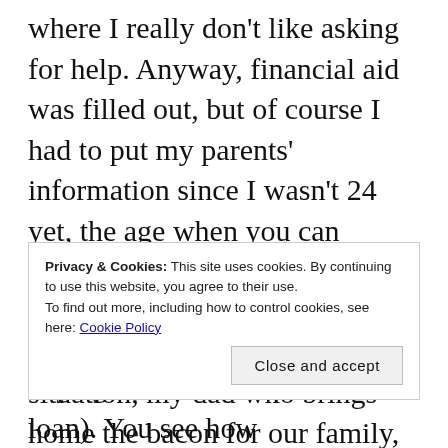where I really don't like asking for help. Anyway, financial aid was filled out, but of course I had to put my parents' information since I wasn't 24 yet, the age when you can choose to not include them. Fortunately for my upbringing but unfortunately in this situation, my dad who brings home the bacon for our family, has a good job. Thus, I don't recall qualifying for financial aid assistance. Looking back, maybe I didn't know how to log in and find out if I got anything. Who knows. But the thing was, any debt accrued from college was going to have to be
Privacy & Cookies: This site uses cookies. By continuing to use this website, you agree to their use. To find out more, including how to control cookies, see here: Cookie Policy
Close and accept
any age unless it's a private loan). You see how